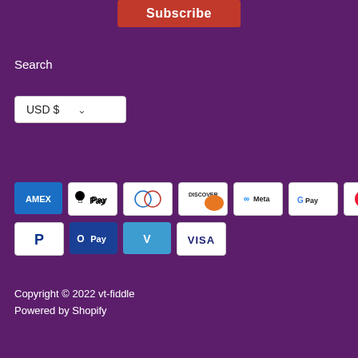Subscribe
Search
USD $
[Figure (other): Payment method icons: AMEX, Apple Pay, Diners Club, Discover, Meta Pay, Google Pay, Mastercard, PayPal, O Pay, Venmo, VISA]
Copyright © 2022 vt-fiddle
Powered by Shopify